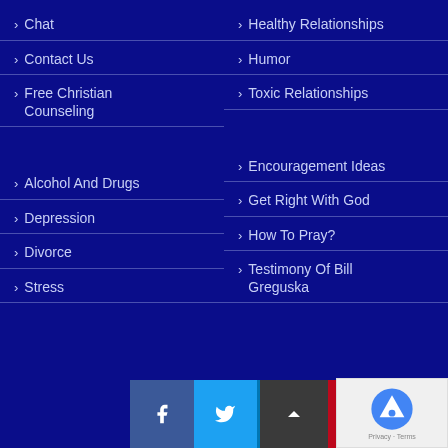> Chat
> Contact Us
> Free Christian Counseling
> Alcohol And Drugs
> Depression
> Divorce
> Stress
> Healthy Relationships
> Humor
> Toxic Relationships
> Encouragement Ideas
> Get Right With God
> How To Pray?
> Testimony Of Bill Greguska